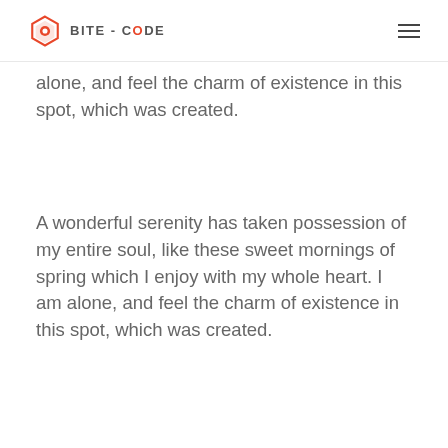BITE-CODE
alone, and feel the charm of existence in this spot, which was created.
A wonderful serenity has taken possession of my entire soul, like these sweet mornings of spring which I enjoy with my whole heart. I am alone, and feel the charm of existence in this spot, which was created.